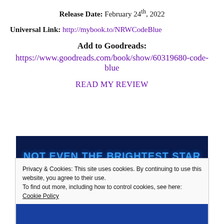Release Date: February 24th, 2022
Universal Link: http://mybook.to/NRWCodeBlue
Add to Goodreads:
https://www.goodreads.com/book/show/60319680-code-blue
READ MY REVIEW
[Figure (screenshot): Dark blue banner with glowing blue text reading NOT EVEN THE BRIGHTEST STAR]
Privacy & Cookies: This site uses cookies. By continuing to use this website, you agree to their use. To find out more, including how to control cookies, see here: Cookie Policy
Close and accept